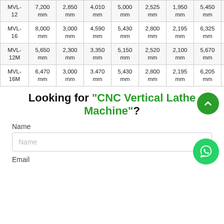| Model | Col1 | Col2 | Col3 | Col4 | Col5 | Col6 | Col7 | Col8 |
| --- | --- | --- | --- | --- | --- | --- | --- | --- |
| MVL-12 | 7,200 mm | 2,850 mm | 4,010 mm | 5,000 mm | 2,525 mm | 1,950 mm | 5,450 mm | 3,38_ mm |
| MVL-16 | 8,000 mm | 3,000 mm | 4,590 mm | 5,430 mm | 2,800 mm | 2,195 mm | 6,325 mm | 3,95_ mm |
| MVL-12M | 5,650 mm | 2,300 mm | 3,350 mm | 5,150 mm | 2,520 mm | 2,100 mm | 5,670 mm | 3,54_ mm |
| MVL-16M | 6,470 mm | 3,000 mm | 3.470 mm | 5,430 mm | 2,800 mm | 2,195 mm | 6,205 mm | 4,08_ mm |
Looking for "CNC Vertical Lathe Machine"?
Name
Email